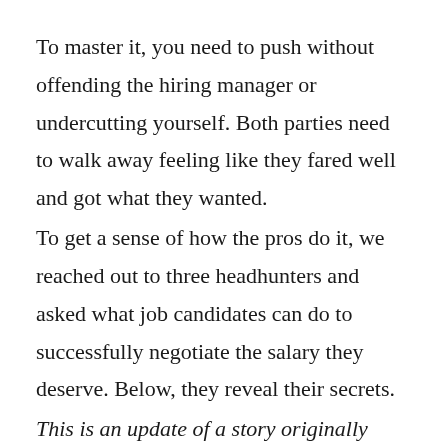To master it, you need to push without offending the hiring manager or undercutting yourself. Both parties need to walk away feeling like they fared well and got what they wanted.
To get a sense of how the pros do it, we reached out to three headhunters and asked what job candidates can do to successfully negotiate the salary they deserve. Below, they reveal their secrets.
This is an update of a story originally written by